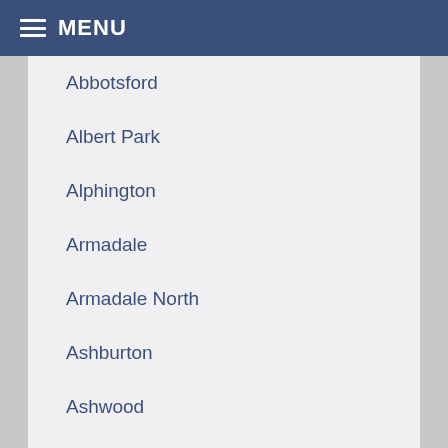MENU
Abbotsford
Albert Park
Alphington
Armadale
Armadale North
Ashburton
Ashwood
Aspendale
Aspendale Gardens